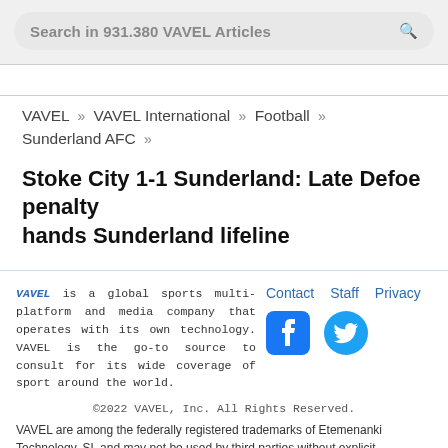Search in 931.380 VAVEL Articles
VAVEL » VAVEL International » Football » Sunderland AFC »
Stoke City 1-1 Sunderland: Late Defoe penalty hands Sunderland lifeline
VAVEL is a global sports multi-platform and media company that operates with its own technology. VAVEL is the go-to source to consult for its wide coverage of sport around the world.
Contact   Staff   Privacy
©2022 VAVEL, Inc. All Rights Reserved.
VAVEL are among the federally registered trademarks of Etemenanki Technology, SL and may not be used by third parties without explicit